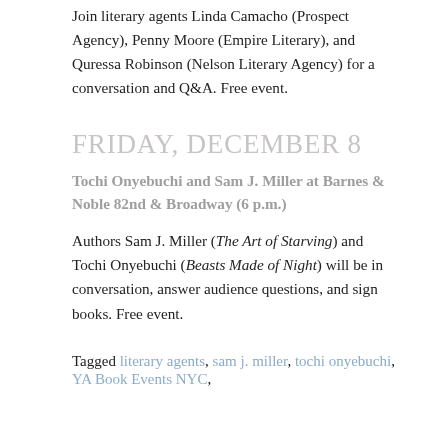Join literary agents Linda Camacho (Prospect Agency), Penny Moore (Empire Literary), and Quressa Robinson (Nelson Literary Agency) for a conversation and Q&A. Free event.
FRIDAY, DECEMBER 8
Tochi Onyebuchi and Sam J. Miller at Barnes & Noble 82nd & Broadway (6 p.m.)
Authors Sam J. Miller (The Art of Starving) and Tochi Onyebuchi (Beasts Made of Night) will be in conversation, answer audience questions, and sign books. Free event.
Tagged literary agents, sam j. miller, tochi onyebuchi, YA Book Events NYC,